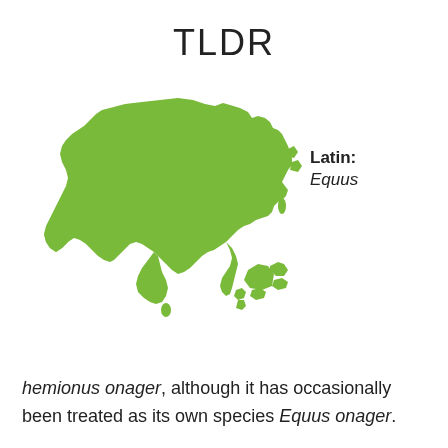TLDR
[Figure (map): Green silhouette map of Asia including the Middle East, South Asia, East Asia, and Southeast Asia islands.]
Latin: Equus
hemionus onager, although it has occasionally been treated as its own species Equus onager.